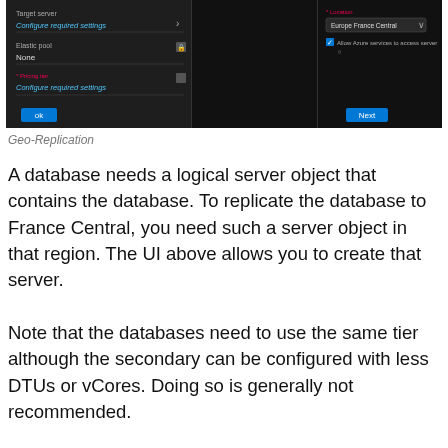[Figure (screenshot): Azure portal screenshot showing SQL database geo-replication setup UI with two panels: left panel shows Target server, Elastic pool (None), Pricing tier with Configure required settings options and OK button; right panel shows Location (Europe France Central dropdown), Allow Azure services to access server checkbox, and Next button.]
Geo-Replication
A database needs a logical server object that contains the database. To replicate the database to France Central, you need such a server object in that region. The UI above allows you to create that server.
Note that the databases need to use the same tier although the secondary can be configured with less DTUs or vCores. Doing so is generally not recommended.